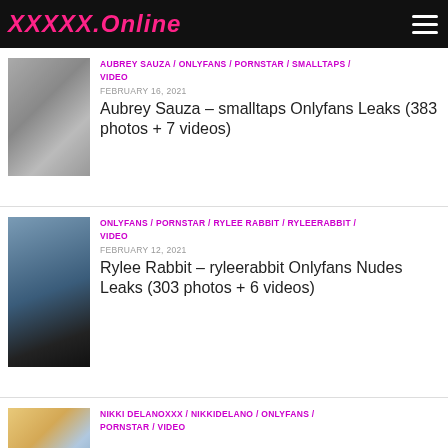XXXXX.Online
AUBREY SAUZA / ONLYFANS / PORNSTAR / SMALLTAPS / VIDEO
FEBRUARY 16, 2021
Aubrey Sauza – smalltaps Onlyfans Leaks (383 photos + 7 videos)
ONLYFANS / PORNSTAR / RYLEE RABBIT / RYLEERABBIT / VIDEO
FEBRUARY 12, 2021
Rylee Rabbit – ryleerabbit Onlyfans Nudes Leaks (303 photos + 6 videos)
NIKKI DELANOXXX / NIKKIDELANO / ONLYFANS / PORNSTAR / VIDEO